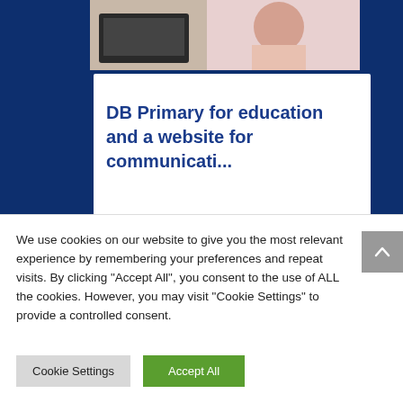[Figure (photo): Top partial photo of a child/student at a computer, cropped at top of page]
DB Primary for education and a website for communicati...
[Figure (photo): Lower photo of a girl with headphones/headband working at a laptop, viewed from behind]
We use cookies on our website to give you the most relevant experience by remembering your preferences and repeat visits. By clicking "Accept All", you consent to the use of ALL the cookies. However, you may visit "Cookie Settings" to provide a controlled consent.
Cookie Settings
Accept All